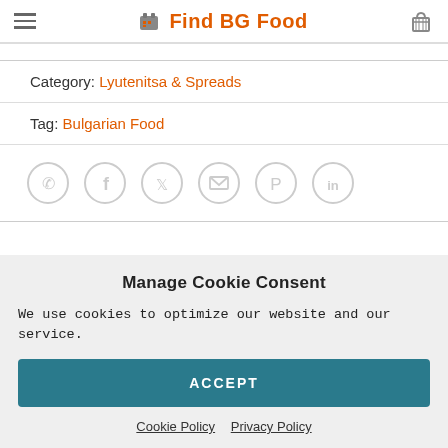Find BG Food
Category: Lyutenitsa & Spreads
Tag: Bulgarian Food
[Figure (infographic): Row of 6 social sharing icons in circles: WhatsApp, Facebook, Twitter, Email, Pinterest, LinkedIn]
Manage Cookie Consent
We use cookies to optimize our website and our service.
ACCEPT
Cookie Policy  Privacy Policy